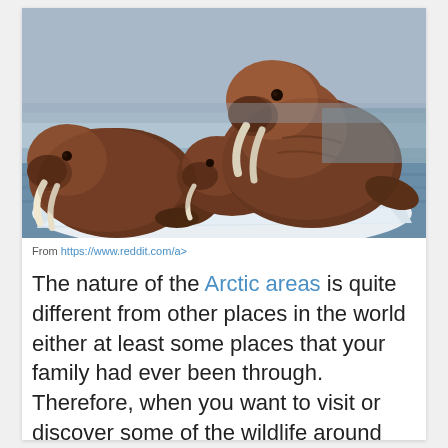[Figure (photo): Three walruses resting on a white ice floe in arctic waters. The walruses have large tusks and dark brown wrinkled skin. Blue-grey arctic sea is visible in the background.]
From https://www.reddit.com/a>
The nature of the Arctic areas is quite different from other places in the world either at least some places that your family had ever been through. Therefore, when you want to visit or discover some of the wildlife around Tromsø, Norway